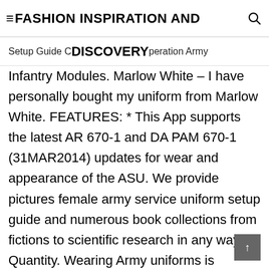≡ FASHION INSPIRATION AND DISCOVERY
Setup Guide DISCOVERY Operation Army Infantry Modules. Marlow White – I have personally bought my uniform from Marlow White. FEATURES: * This App supports the latest AR 670-1 and DA PAM 670-1 (31MAR2014) updates for wear and appearance of the ASU. We provide pictures female army service uniform setup guide and numerous book collections from fictions to scientific research in any way. Quantity. Wearing Army uniforms is prohibited in the following situations: (1) In connection with the furtherance